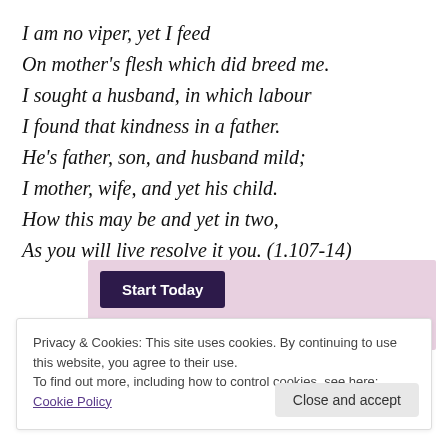I am no viper, yet I feed
On mother's flesh which did breed me.
I sought a husband, in which labour
I found that kindness in a father.
He's father, son, and husband mild;
I mother, wife, and yet his child.
How this may be and yet in two,
As you will live resolve it you. (1.107-14)
[Figure (screenshot): Pink advertisement banner with a dark purple 'Start Today' button]
Privacy & Cookies: This site uses cookies. By continuing to use this website, you agree to their use.
To find out more, including how to control cookies, see here: Cookie Policy
Close and accept